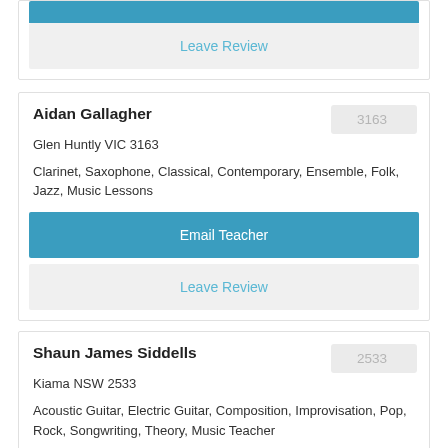Leave Review
Aidan Gallagher
Glen Huntly VIC 3163
Clarinet, Saxophone, Classical, Contemporary, Ensemble, Folk, Jazz, Music Lessons
Email Teacher
Leave Review
Shaun James Siddells
Kiama NSW 2533
Acoustic Guitar, Electric Guitar, Composition, Improvisation, Pop, Rock, Songwriting, Theory, Music Teacher
Email Teacher